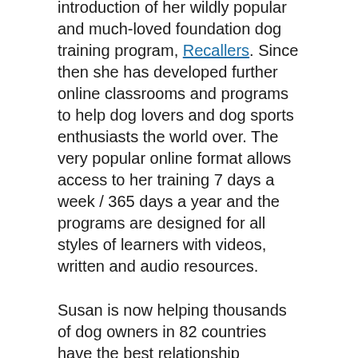introduction of her wildly popular and much-loved foundation dog training program, Recallers. Since then she has developed further online classrooms and programs to help dog lovers and dog sports enthusiasts the world over. The very popular online format allows access to her training 7 days a week / 365 days a year and the programs are designed for all styles of learners with videos, written and audio resources.
Susan is now helping thousands of dog owners in 82 countries have the best relationship possible with their dogs.
The real joy for her comes from taking a puppy (or a rescue dog) and bringing confidence and joy to that dog and their owner through playful interactions and relationship building games. Susan's programs are